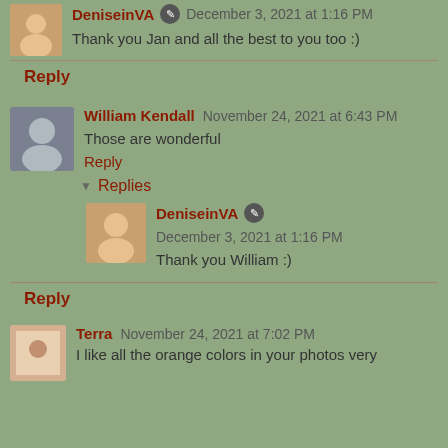DeniseinVA  December 3, 2021 at 1:16 PM
Thank you Jan and all the best to you too :)
Reply
William Kendall  November 24, 2021 at 6:43 PM
Those are wonderful
Reply
Replies
DeniseinVA  December 3, 2021 at 1:16 PM
Thank you William :)
Reply
Terra  November 24, 2021 at 7:02 PM
I like all the orange colors in your photos very